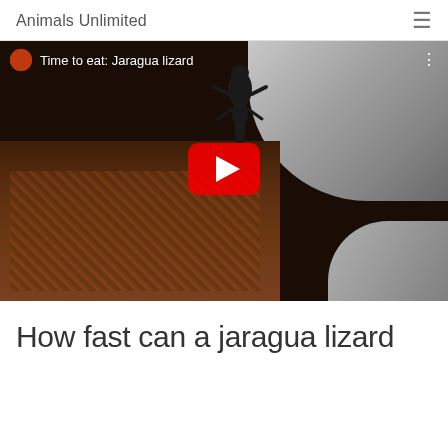Animals Unlimited
[Figure (screenshot): YouTube video thumbnail showing a Jaragua lizard with title 'Time to eat: Jaragua lizard' and a red YouTube play button in the center. The background shows a dark environment with scattered organic matter.]
How fast can a jaragua lizard